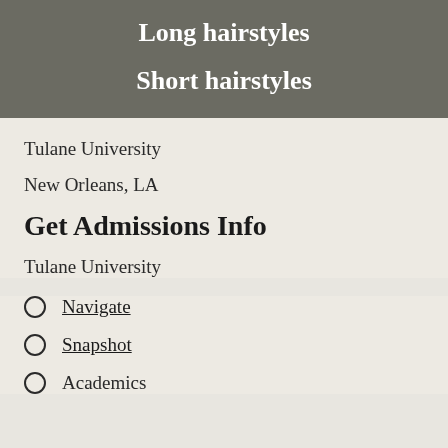Long hairstyles
Short hairstyles
Tulane University
New Orleans, LA
Get Admissions Info
Tulane University
Navigate
Snapshot
Academics